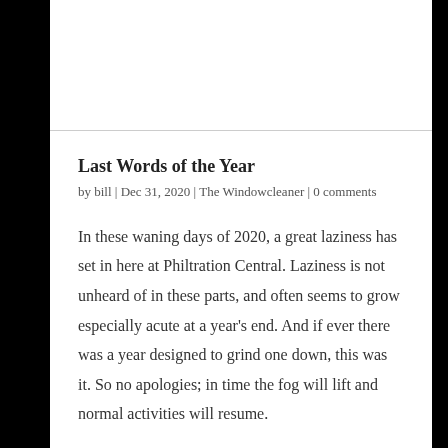Last Words of the Year
by bill | Dec 31, 2020 | The Windowcleaner | 0 comments
In these waning days of 2020, a great laziness has set in here at Philtration Central. Laziness is not unheard of in these parts, and often seems to grow especially acute at a year's end. And if ever there was a year designed to grind one down, this was it. So no apologies; in time the fog will lift and normal activities will resume.